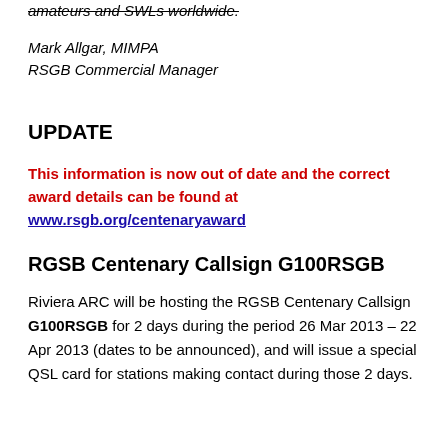amateurs and SWLs worldwide.
Mark Allgar, MIMPA
RSGB Commercial Manager
UPDATE
This information is now out of date and the correct award details can be found at www.rsgb.org/centenaryaward
RGSB Centenary Callsign G100RSGB
Riviera ARC will be hosting the RGSB Centenary Callsign G100RSGB for 2 days during the period 26 Mar 2013 – 22 Apr 2013 (dates to be announced), and will issue a special QSL card for stations making contact during those 2 days.